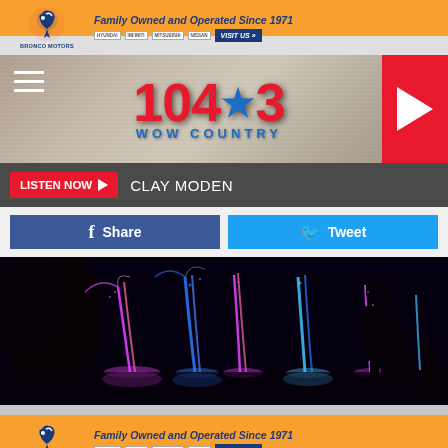[Figure (other): Bronco Motors advertisement banner - Family Owned and Operated Since 1971, with car brand logos (Hyundai, Infiniti, Mitsubishi, Nissan) and VISIT US button]
[Figure (logo): 104.3 WOW Country radio station navigation bar with hamburger menu, station logo in red, and red play button on right]
LISTEN NOW  CLAY MODEN
[Figure (other): Facebook Share button and Twitter Tweet button side by side]
[Figure (photo): Night photo of colorful fountain display with pink and blue lights, silhouette of person/child viewing the fountain]
[Figure (other): Bronco Motors advertisement banner - Family Owned and Operated Since 1971 (bottom repeat)]